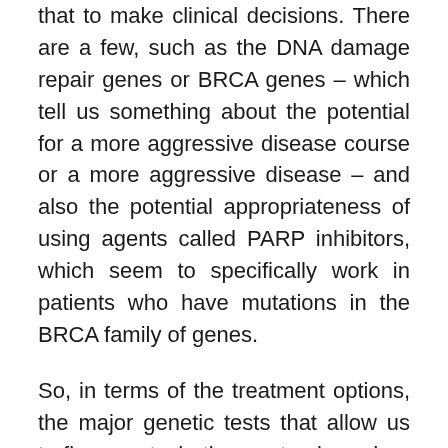that to make clinical decisions. There are a few, such as the DNA damage repair genes or BRCA genes – which tell us something about the potential for a more aggressive disease course or a more aggressive disease – and also the potential appropriateness of using agents called PARP inhibitors, which seem to specifically work in patients who have mutations in the BRCA family of genes.
So, in terms of the treatment options, the major genetic tests that allow us to figure out whether systemic or drug treatment option is appropriate or not, is in DNA damage repair genes such as BRCA.
So, for example, in the case of metastatic